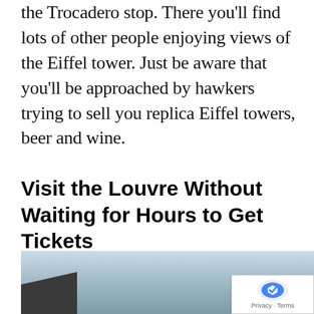the Trocadero stop. There you'll find lots of other people enjoying views of the Eiffel tower. Just be aware that you'll be approached by hawkers trying to sell you replica Eiffel towers, beer and wine.
Visit the Louvre Without Waiting for Hours to Get Tickets
[Figure (photo): Partial photo showing a building on the lower left and sky with clouds, with a reCAPTCHA badge overlaid in the bottom right corner.]